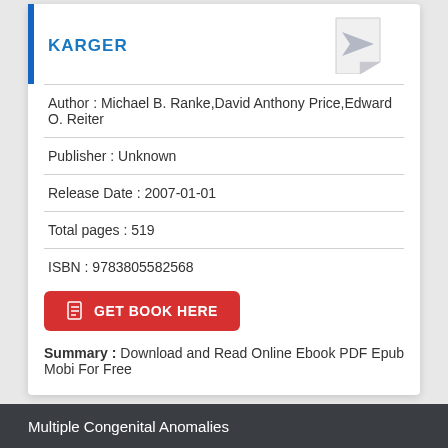[Figure (logo): Karger publisher logo with blue vertical bar on left and stylized paper airplane icon on right]
Author : Michael B. Ranke,David Anthony Price,Edward O. Reiter
Publisher : Unknown
Release Date : 2007-01-01
Total pages : 519
ISBN : 9783805582568
GET BOOK HERE
Summary : Download and Read Online Ebook PDF Epub Mobi For Free
Multiple Congenital Anomalies